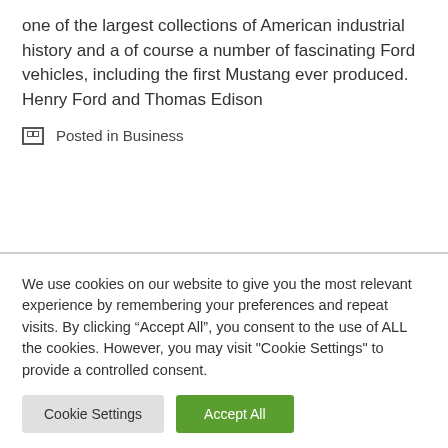one of the largest collections of American industrial history and a of course a number of fascinating Ford vehicles, including the first Mustang ever produced. Henry Ford and Thomas Edison
Posted in Business
We use cookies on our website to give you the most relevant experience by remembering your preferences and repeat visits. By clicking “Accept All”, you consent to the use of ALL the cookies. However, you may visit "Cookie Settings" to provide a controlled consent.